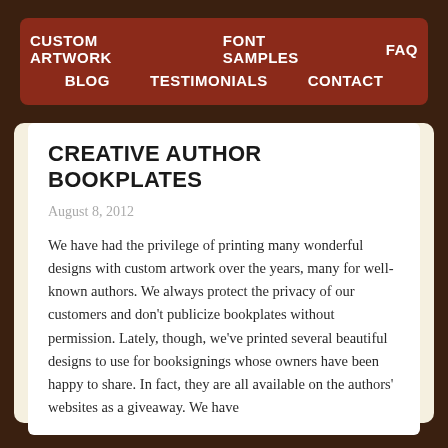CUSTOM ARTWORK   FONT SAMPLES   FAQ   BLOG   TESTIMONIALS   CONTACT
CREATIVE AUTHOR BOOKPLATES
August 8, 2012
We have had the privilege of printing many wonderful designs with custom artwork over the years, many for well-known authors. We always protect the privacy of our customers and don't publicize bookplates without permission. Lately, though, we've printed several beautiful designs to use for booksignings whose owners have been happy to share. In fact, they are all available on the authors' websites as a giveaway. We have